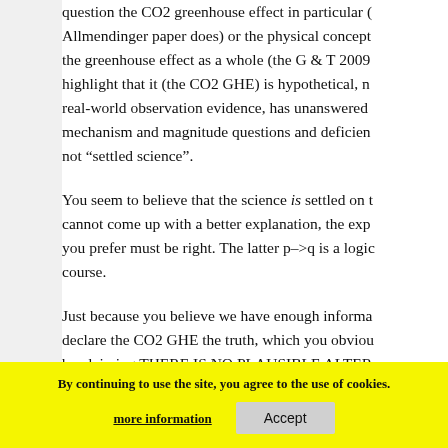question the CO2 greenhouse effect in particular (the Allmendinger paper does) or the physical concept of the greenhouse effect as a whole (the G & T 2009 highlight that it (the CO2 GHE) is hypothetical, no real-world observation evidence, has unanswered mechanism and magnitude questions and deficien not "settled science".
You seem to believe that the science is settled on t cannot come up with a better explanation, the exp you prefer must be right. The latter p–>q is a logic course.
Just because you believe we have enough informa declare the CO2 GHE the truth, which you obviou by claiming THERE IS NO PLAUSIBLE ALTE ing certain so. ed to alternative e a non-observed, non-real world explanation — ev new explanations also have many question marks
By continuing to use the site, you agree to the use of cookies.
more information
Accept